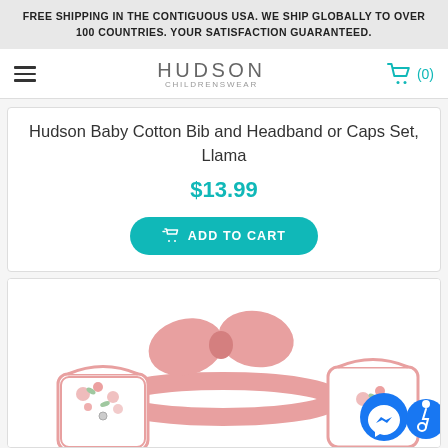FREE SHIPPING IN THE CONTIGUOUS USA. WE SHIP GLOBALLY TO OVER 100 COUNTRIES. YOUR SATISFACTION GUARANTEED.
HUDSON CHILDRENSWEAR (0)
Hudson Baby Cotton Bib and Headband or Caps Set, Llama
$13.99
ADD TO CART
[Figure (photo): Baby bib and floral headband set with pink bow headband, floral print bib on left, and floral print bib on right with messenger and accessibility chat badges visible]